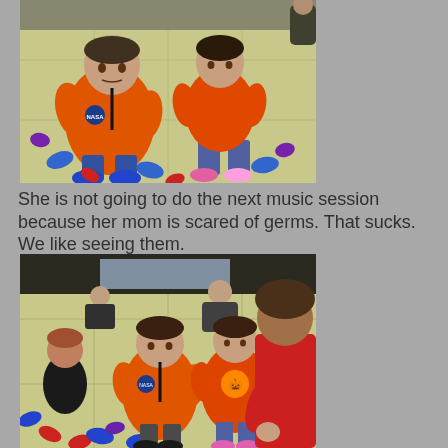[Figure (photo): Two young children sitting on a tiled floor. One child wears an orange NASA astronaut costume, the other wears an orange top and jeans with pink shoes. Colorful toy pieces scattered around them. Adults visible in background.]
She is not going to do the next music session because her mom is scared of germs. That sucks. We like seeing them.
[Figure (photo): Group of toddlers and parents sitting on a tiled floor in what appears to be a music session. One child wears an orange astronaut costume, another wears an orange shirt with pumpkin design. An adult in a red shirt is visible in foreground. Colorful toy pieces on the floor.]